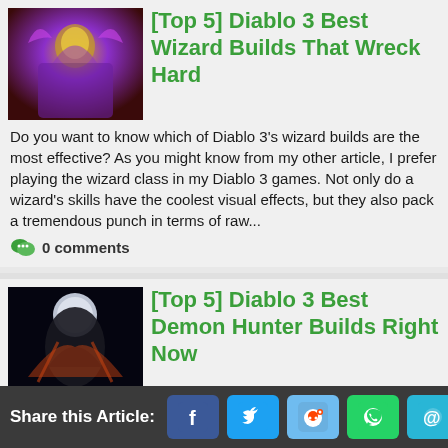[Figure (photo): Diablo 3 Wizard character image, purple and gold armor]
[Top 5] Diablo 3 Best Wizard Builds That Wreck Hard
Do you want to know which of Diablo 3's wizard builds are the most effective? As you might know from my other article, I prefer playing the wizard class in my Diablo 3 games. Not only do a wizard's skills have the coolest visual effects, but they also pack a tremendous punch in terms of raw...
0 comments
[Figure (photo): Diablo 3 Demon Hunter character image, dark figure with moon background]
[Top 5] Diablo 3 Best Demon Hunter Builds Right Now
Does the new Gears of Dreadlands Demon Hunter set make for the best build? Demon Hunters are known for the wide variety of ways that they can assassinate hoards of demons from afar.  There is nothing more satisfying to me than sitting back and blasting arrows into droves of enemies and...
Share this Article: